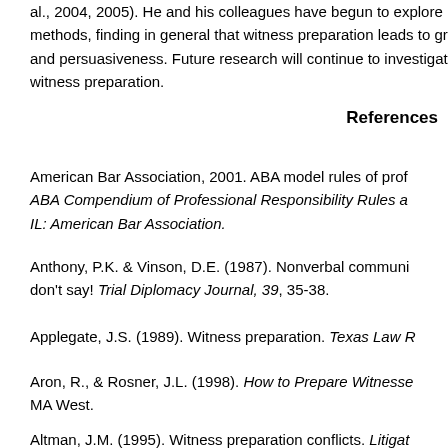al., 2004, 2005). He and his colleagues have begun to explore methods, finding in general that witness preparation leads to greater credibility and persuasiveness. Future research will continue to investigate witness preparation.
References
American Bar Association, 2001. ABA model rules of professional conduct. In ABA Compendium of Professional Responsibility Rules and Standards. Chicago, IL: American Bar Association.
Anthony, P.K. & Vinson, D.E. (1987). Nonverbal communication: What you don't say! Trial Diplomacy Journal, 39, 35-38.
Applegate, J.S. (1989). Witness preparation. Texas Law Review.
Aron, R., & Rosner, J.L. (1998). How to Prepare Witnesses for Trial. Boston, MA West.
Altman, J.M. (1995). Witness preparation conflicts. Litigation.